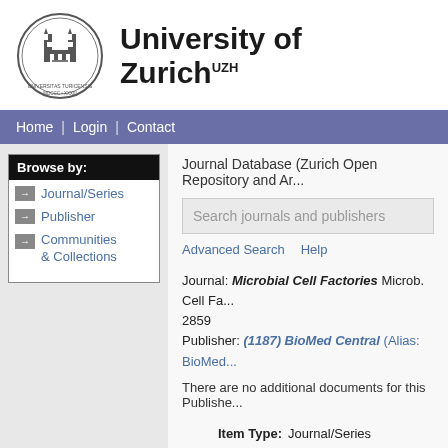[Figure (logo): University of Zurich circular seal/crest logo]
University of Zurich UZH
Home | Login | Contact
Browse by:
Journal/Series
Publisher
Communities & Collections
Journal Database (Zurich Open Repository and Ar...
Search journals and publishers
Advanced Search   Help
Journal: Microbial Cell Factories Microb. Cell Fa... 2859
Publisher: (1187) BioMed Central (Alias: BioMed...
There are no additional documents for this Publisher...
Item Type:  Journal/Series
Publication Type:  Journal